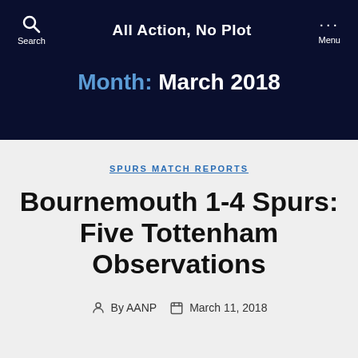All Action, No Plot
Month: March 2018
SPURS MATCH REPORTS
Bournemouth 1-4 Spurs: Five Tottenham Observations
By AANP   March 11, 2018